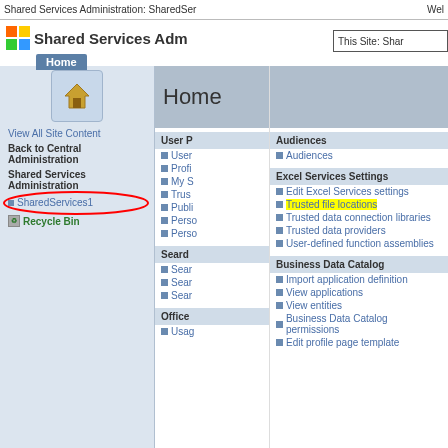Shared Services Administration: SharedSer   Wel
Shared Services Adm
This Site: Shar
[Figure (screenshot): SharePoint Shared Services Administration interface showing left nav with SharedServices1 circled in red, and right panel showing Excel Services Settings with 'Trusted file locations' highlighted in yellow]
View All Site Content
Back to Central Administration
Shared Services Administration
SharedServices1
Recycle Bin
User P
User
Profi
My S
Trus
Publi
Perso
Perso
Seard
Sear
Sear
Sear
Office
Usag
Audiences
Audiences
Excel Services Settings
Edit Excel Services settings
Trusted file locations
Trusted data connection libraries
Trusted data providers
User-defined function assemblies
Business Data Catalog
Import application definition
View applications
View entities
Business Data Catalog permissions
Edit profile page template